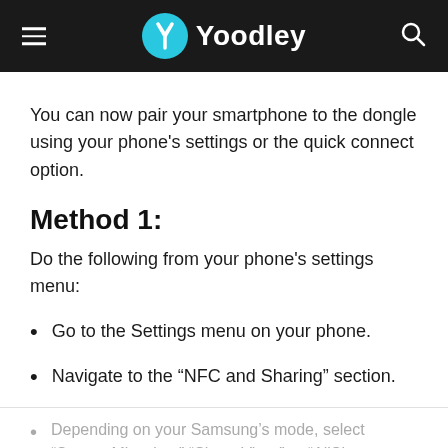Yoodley
You can now pair your smartphone to the dongle using your phone's settings or the quick connect option.
Method 1:
Do the following from your phone's settings menu:
Go to the Settings menu on your phone.
Navigate to the “NFC and Sharing” section.
Depending on your Samsung’s mode, select “Screen Mirroring,” “Share View,” or “AllShare features.”